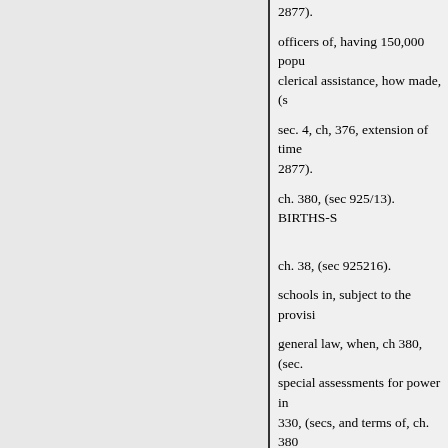2877).
officers of, having 150,000 popu clerical assistance, how made, (s
sec. 4, ch, 376, extension of time 2877).
ch. 380, (sec 925/13). BIRTHS-S
ch. 38, (sec 925216).
schools in, subject to the provisi
general law, when, ch 380, (sec. special assessments for power in 330, (secs, and terms of, ch. 380
12100, 1210e, 1210). BOARD
CITY CLERKS
salaries of, in cities of 150,000 o
ch. 376. ch. 375.
assistance in making tax roll, sec
CLERK OF COURTS